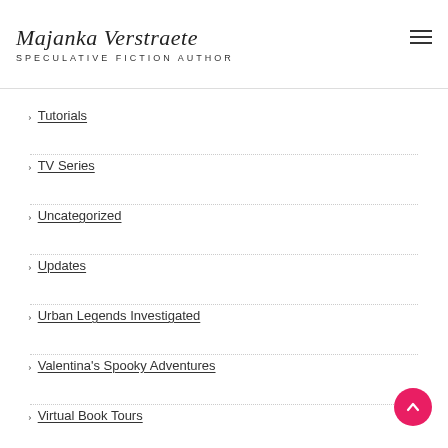Majanka Verstraete
SPECULATIVE FICTION AUTHOR
Tutorials
TV Series
Uncategorized
Updates
Urban Legends Investigated
Valentina's Spooky Adventures
Virtual Book Tours